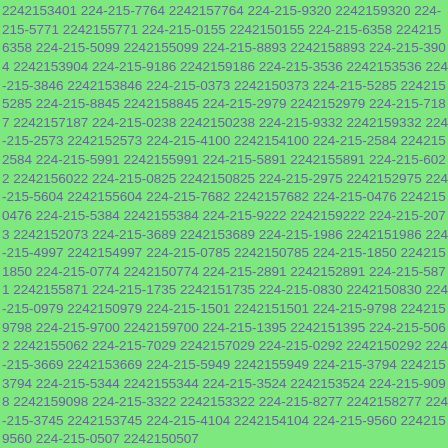2242153401 224-215-7764 2242157764 224-215-9320 2242159320 224-215-5771 2242155771 224-215-0155 2242150155 224-215-6358 2242156358 224-215-5099 2242155099 224-215-8893 2242158893 224-215-3904 2242153904 224-215-9186 2242159186 224-215-3536 2242153536 224-215-3846 2242153846 224-215-0373 2242150373 224-215-5285 2242155285 224-215-8845 2242158845 224-215-2979 2242152979 224-215-7187 2242157187 224-215-0238 2242150238 224-215-9332 2242159332 224-215-2573 2242152573 224-215-4100 2242154100 224-215-2584 2242152584 224-215-5991 2242155991 224-215-5891 2242155891 224-215-6022 2242156022 224-215-0825 2242150825 224-215-2975 2242152975 224-215-5604 2242155604 224-215-7682 2242157682 224-215-0476 2242150476 224-215-5384 2242155384 224-215-9222 2242159222 224-215-2073 2242152073 224-215-3689 2242153689 224-215-1986 2242151986 224-215-4997 2242154997 224-215-0785 2242150785 224-215-1850 2242151850 224-215-0774 2242150774 224-215-2891 2242152891 224-215-5871 2242155871 224-215-1735 2242151735 224-215-0830 2242150830 224-215-0979 2242150979 224-215-1501 2242151501 224-215-9798 2242159798 224-215-9700 2242159700 224-215-1395 2242151395 224-215-5062 2242155062 224-215-7029 2242157029 224-215-0292 2242150292 224-215-3669 2242153669 224-215-5949 2242155949 224-215-3794 2242153794 224-215-5344 2242155344 224-215-3524 2242153524 224-215-9098 2242159098 224-215-3322 2242153322 224-215-8277 2242158277 224-215-3745 2242153745 224-215-4104 2242154104 224-215-9560 2242159560 224-215-0507 2242150507